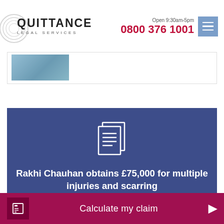[Figure (logo): Quittance Legal Services logo with circular graphic element]
Open 9:30am-5pm
0800 376 1001
[Figure (photo): Partial image thumbnail visible at top of page]
[Figure (infographic): Blue card with document/pages icon showing case result: Rakhi Chauhan obtains £75,000 for multiple injuries and scarring]
Rakhi Chauhan obtains £75,000 for multiple injuries and scarring
Calculate my claim